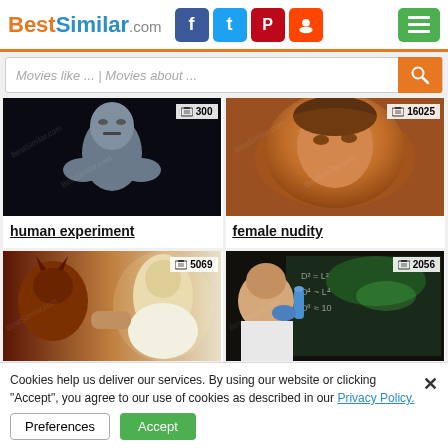[Figure (screenshot): BestSimilar.com website header with logo, social media icons (Facebook, Twitter, Pinterest, Reddit), and green hamburger menu button]
[Figure (screenshot): Search bar with placeholder text 'Movies like ... | Movies about ...' and orange search button]
[Figure (photo): Movie card image: alien/humanoid figure in dark background, badge showing film icon and '300']
human experiment
[Figure (photo): Movie card image: close-up of a woman's face with warm tones, badge showing film icon and '16025']
female nudity
[Figure (photo): Movie card image: demon and jesus-like figure arm wrestling, badge showing film icon and '5069']
[Figure (photo): Movie card image: scientist with glowing test tube at chalkboard, badge showing film icon and '2056']
Cookies help us deliver our services. By using our website or clicking "Accept", you agree to our use of cookies as described in our Privacy Policy.
Preferences
Accept